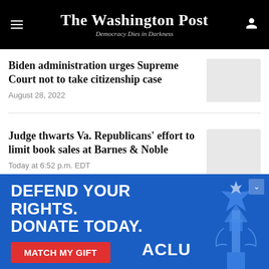The Washington Post — Democracy Dies in Darkness
Biden administration urges Supreme Court not to take citizenship case
August 28, 2022
Judge thwarts Va. Republicans' effort to limit book sales at Barnes & Noble
Today at 6:52 p.m. EDT
[Figure (infographic): ACLU advertisement banner: DEFEND YOUR RIGHTS. DONATE TODAY. with MATCH MY GIFT button and Statue of Liberty graphic]